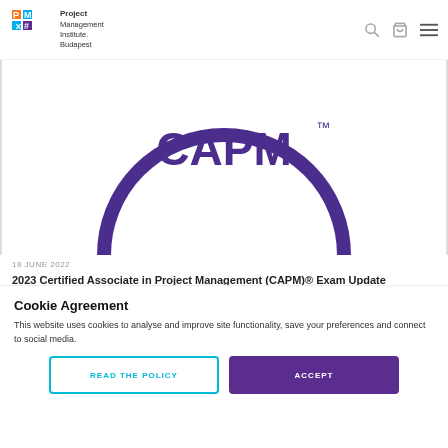Project Management Institute. Budapest
[Figure (logo): PMI Budapest logo with colorful PM icon and text 'Project Management Institute. Budapest']
[Figure (illustration): CAPM certification badge - partial circle arc in purple with CAPM text in large purple letters on white background]
18 JUNE 2022
2023 Certified Associate in Project Management (CAPM)® Exam Update
READ MORE >>
[Figure (photo): Dark banner image with white italic text 'Light Up 360' and a circular badge element]
Cookie Agreement
This website uses cookies to analyse and improve site functionality, save your preferences and connect to social media.
READ THE POLICY
ACCEPT